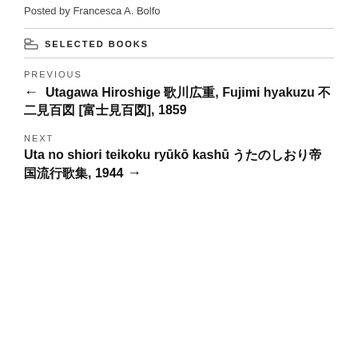Posted by Francesca A. Bolfo
SELECTED BOOKS
PREVIOUS
← Utagawa Hiroshige 歌川広重, Fujimi hyakuzu 不二見百図 [富士見百図], 1859
NEXT
Uta no shiori teikoku ryūkō kashū うたのしおり帝国流行歌集, 1944 →